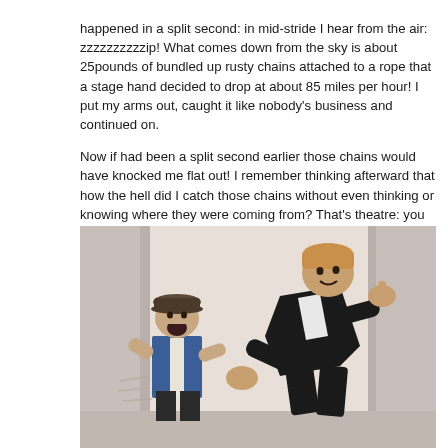happened in a split second: in mid-stride I hear from the air: zzzzzzzzzzip! What comes down from the sky is about 25pounds of bundled up rusty chains attached to a rope that a stage hand decided to drop at about 85 miles per hour! I put my arms out, caught it like nobody's business and continued on.

Now if had been a split second earlier those chains would have knocked me flat out! I remember thinking afterward that how the hell did I catch those chains without even thinking or knowing where they were coming from? That's theatre: you never know what's gonna happen and when something different does happen it's a gift and you go with it.
[Figure (photo): Two performers on stage: a young boy in a blue vest and newsboy cap with mouth open in excited expression on the left, and a tall adult man in a black suit leaning forward with clenched fists in an animated gesture on the right. Both are performing on what appears to be a theatre stage with a light-colored curtain backdrop.]